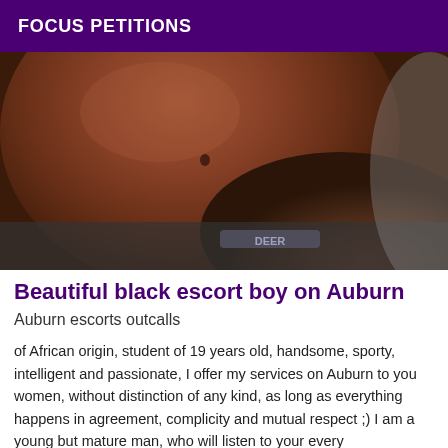FOCUS PETITIONS
[Figure (photo): Close-up photo of a person's torso and neck area]
Beautiful black escort boy on Auburn
Auburn escorts outcalls
of African origin, student of 19 years old, handsome, sporty, intelligent and passionate, I offer my services on Auburn to you women, without distinction of any kind, as long as everything happens in agreement, complicity and mutual respect ;) I am a young but mature man, who will listen to your every desire.....going out, massages, listening and more if you want ;) I promise you pleasant